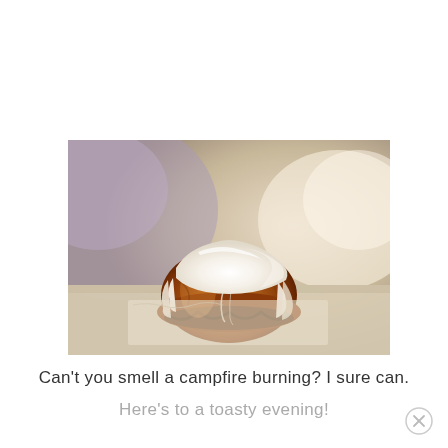[Figure (photo): Close-up photo of a single frosted cinnamon roll or small frosted cake with thick white cream cheese frosting melting over the top, placed on a light surface with blurred warm background]
Can't you smell a campfire burning?  I sure can.
Here's to a toasty evening!